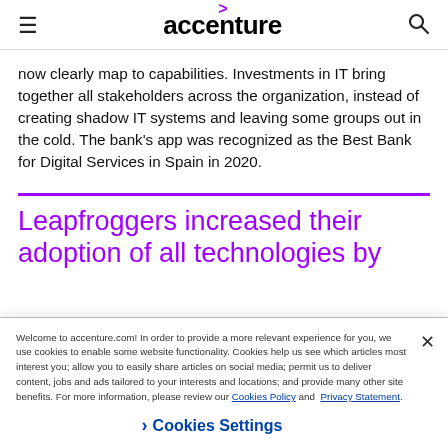accenture
now clearly map to capabilities. Investments in IT bring together all stakeholders across the organization, instead of creating shadow IT systems and leaving some groups out in the cold. The bank's app was recognized as the Best Bank for Digital Services in Spain in 2020.
Leapfroggers increased their adoption of all technologies by
Welcome to accenture.com! In order to provide a more relevant experience for you, we use cookies to enable some website functionality. Cookies help us see which articles most interest you; allow you to easily share articles on social media; permit us to deliver content, jobs and ads tailored to your interests and locations; and provide many other site benefits. For more information, please review our Cookies Policy and Privacy Statement.
Cookies Settings